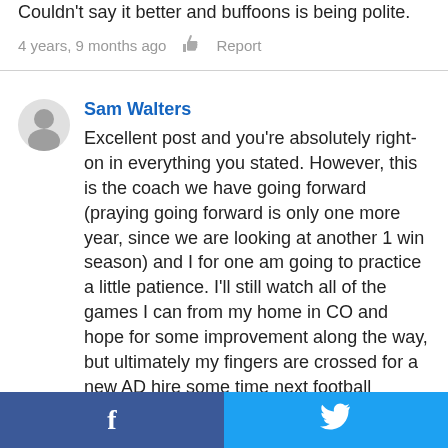Couldn't say it better and buffoons is being polite.
4 years, 9 months ago   Report
Sam Walters
Excellent post and you're absolutely right-on in everything you stated. However, this is the coach we have going forward (praying going forward is only one more year, since we are looking at another 1 win season) and I for one am going to practice a little patience. I'll still watch all of the games I can from my home in CO and hope for some improvement along the way, but ultimately my fingers are crossed for a new AD hire some time next football season and for our administration and new AD to do everything in their power to go get Dave Doeren to replace David Beaty. If for no other reason than aesthetics we should wait til after week 13 to can Beaty and announce the